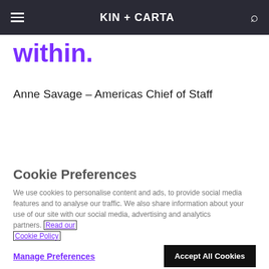KIN + CARTA
within.
Anne Savage – Americas Chief of Staff
Cookie Preferences
We use cookies to personalise content and ads, to provide social media features and to analyse our traffic. We also share information about your use of our site with our social media, advertising and analytics partners. Read our Cookie Policy
Manage Preferences
Accept All Cookies